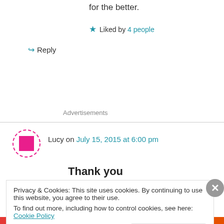for the better.
★ Liked by 4 people
↪ Reply
Advertisements
Lucy on July 15, 2015 at 6:00 pm
Thank you
Privacy & Cookies: This site uses cookies. By continuing to use this website, you agree to their use.
To find out more, including how to control cookies, see here: Cookie Policy
Close and accept